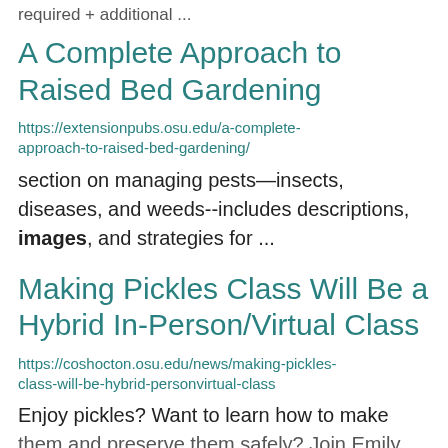required + additional ...
A Complete Approach to Raised Bed Gardening
https://extensionpubs.osu.edu/a-complete-approach-to-raised-bed-gardening/
section on managing pests—insects, diseases, and weeds--includes descriptions, images, and strategies for ...
Making Pickles Class Will Be a Hybrid In-Person/Virtual Class
https://coshocton.osu.edu/news/making-pickles-class-will-be-hybrid-personvirtual-class
Enjoy pickles? Want to learn how to make them and preserve them safely? Join Emily